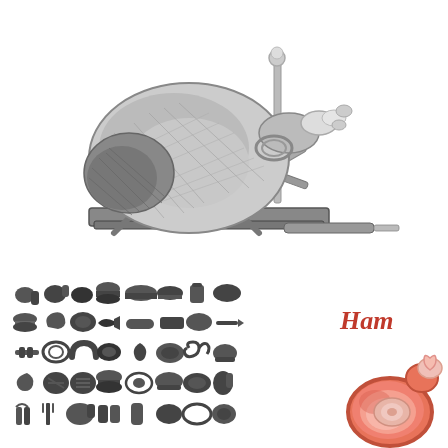[Figure (illustration): Detailed black and white engraving-style sketch of a whole ham leg mounted on a jamón stand (jamonero) with a carving knife resting on the wooden board beneath it. The ham is displayed on a wooden holder with a metal spike and decorative top piece.]
[Figure (illustration): Grid of small black silhouette food icons arranged in 5 rows, including various meats, fish, sausages, bread, condiments, and other food items.]
Ham
[Figure (illustration): Colorful cartoon-style illustration of a ham leg with pink/red meat tones and a small decorative heart-shaped bone end, partially visible at the bottom right corner.]